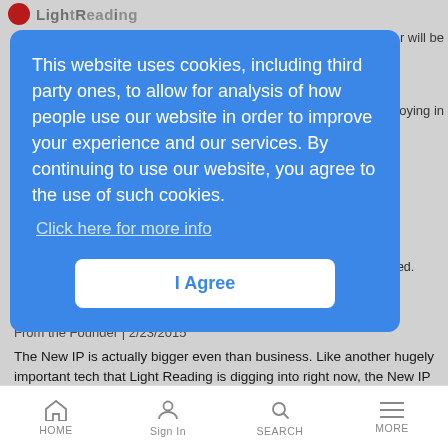Light Reading
will be
loying in
Yaqua teams up with Inter-op to better reach rural wireless operators looking to offer WiFi calling, many of which don't yet have IMS deployed.
New IP: Bigger, Better
From the Founder | 2/23/2015
The New IP is actually bigger even than business. Like another hugely important tech that Light Reading is digging into right now, the New IP has
[Figure (screenshot): Cookie consent modal overlay on Light Reading website. Blue rounded rectangle modal with white text reading: 'This website uses cookies, including third party ones, to allow for analysis of how people use our website in order to improve your experience and our services. By continuing to use our website, you agree to the use of such cookies.' With a light blue underlined link 'Click here for more info' and a white 'I Agree' button centered below.]
HOME  Sign In  SEARCH  MORE